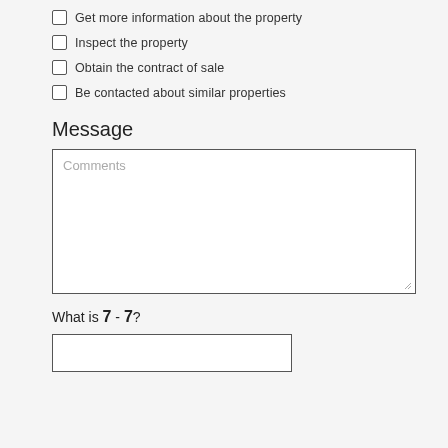Get more information about the property
Inspect the property
Obtain the contract of sale
Be contacted about similar properties
Message
Comments
What is 7 - 7?